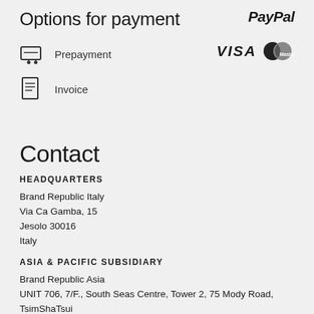Options for payment
Prepayment
[Figure (logo): PayPal logo in bold italic black text]
Invoice
[Figure (logo): VISA logo and MasterCard logo side by side]
Contact
HEADQUARTERS
Brand Republic Italy
Via Ca Gamba, 15
Jesolo 30016
Italy
ASIA & PACIFIC SUBSIDIARY
Brand Republic Asia
UNIT 706, 7/F., South Seas Centre, Tower 2, 75 Mody Road, TsimShaTsui
Kowloon
Hong Kong